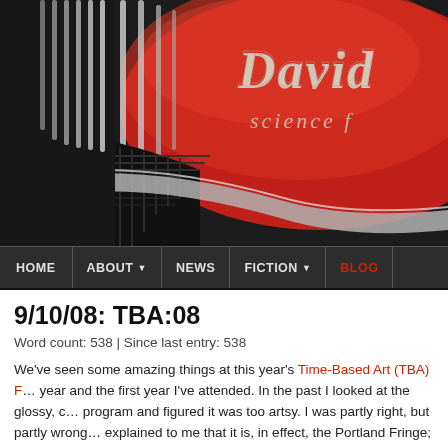[Figure (screenshot): Website header banner showing a retro red metallic car grille design with chrome lettering reading 'David' and 'science f' (partially cropped), on a dark background.]
HOME | ABOUT | NEWS | FICTION | BLOG
9/10/08: TBA:08
Word count: 538 | Since last entry: 538
We've seen some amazing things at this year's Time-Based Art (TBA) F... year and the first year I've attended. In the past I looked at the glossy, c... program and figured it was too artsy. I was partly right, but partly wrong... explained to me that it is, in effect, the Portland Fringe; it's full of amazin... lectures on architecture and urban planning, and hands-on workshops... performance art, tedious ballet, and strange art-like installations, but yo... I'm sorry I waited this long to try it.